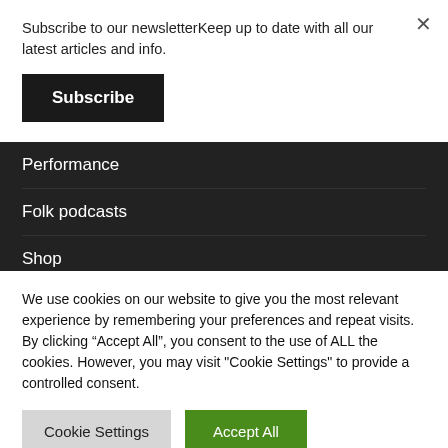Subscribe to our newsletterKeep up to date with all our latest articles and info.
Subscribe
Performance
Folk podcasts
Shop
We use cookies on our website to give you the most relevant experience by remembering your preferences and repeat visits. By clicking “Accept All”, you consent to the use of ALL the cookies. However, you may visit "Cookie Settings" to provide a controlled consent.
Cookie Settings
Accept All